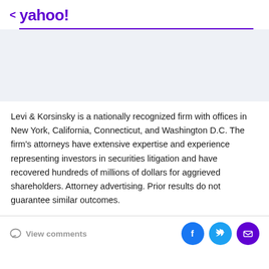< yahoo!
[Figure (other): Advertisement banner placeholder area with light blue-grey background]
Levi & Korsinsky is a nationally recognized firm with offices in New York, California, Connecticut, and Washington D.C. The firm's attorneys have extensive expertise and experience representing investors in securities litigation and have recovered hundreds of millions of dollars for aggrieved shareholders. Attorney advertising. Prior results do not guarantee similar outcomes.
View comments